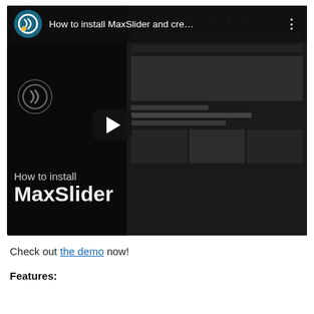[Figure (screenshot): YouTube-style video thumbnail showing 'How to install MaxSlider and cre...' with a channel avatar, three-dot menu, play button overlay, and a dark website screenshot in the background showing 'OLSEN' text and website layout]
Check out the demo now!
Features: